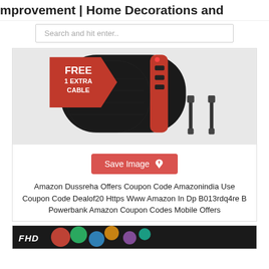mprovement | Home Decorations and
Search and hit enter..
[Figure (photo): Product image of a black and red power bank with USB cables and a red badge that says FREE 1 EXTRA CABLE]
Save Image
Amazon Dussreha Offers Coupon Code Amazonindia Use Coupon Code Dealof20 Https Www Amazon In Dp B013rdq4re B Powerbank Amazon Coupon Codes Mobile Offers
[Figure (photo): Bottom card showing FHD label with colorful background]